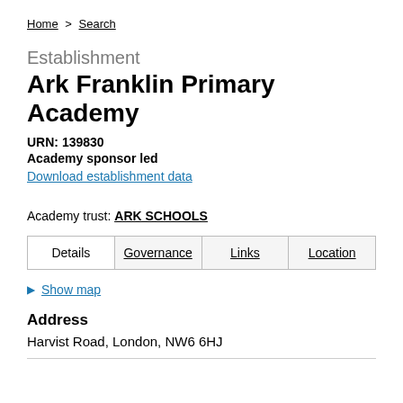Home > Search
Establishment
Ark Franklin Primary Academy
URN: 139830
Academy sponsor led
Download establishment data
Academy trust: ARK SCHOOLS
Details | Governance | Links | Location
Show map
Address
Harvist Road, London, NW6 6HJ